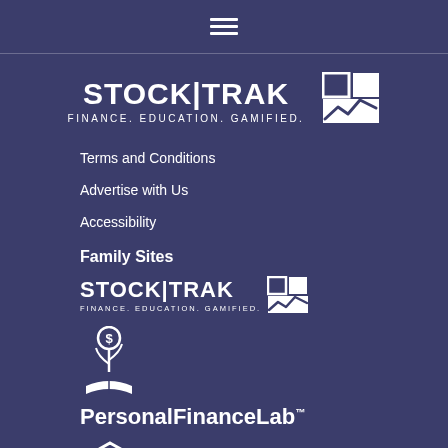[Figure (other): Hamburger menu icon (three horizontal lines)]
[Figure (logo): StockTrak logo with text STOCK|TRAK FINANCE. EDUCATION. GAMIFIED. and chart icon, large version centered]
Terms and Conditions
Advertise with Us
Accessibility
Family Sites
[Figure (logo): StockTrak logo smaller version: STOCK|TRAK FINANCE. EDUCATION. GAMIFIED. with chart icon]
[Figure (logo): PersonalFinanceLab logo: plant/coin icon above text PersonalFinanceLab with trademark symbol]
[Figure (logo): Wall Street Survivor logo: hexagon with W arrow icon, text WALL STREET SURVIVOR and tagline Demystifying Investing.]